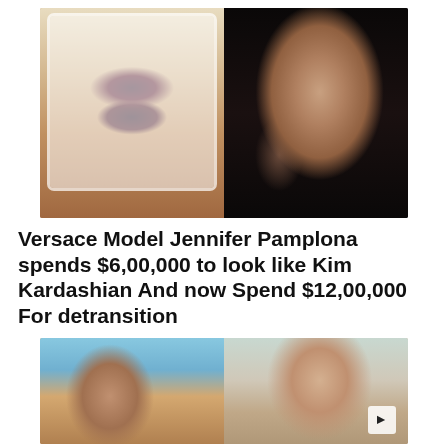[Figure (photo): Two-panel photo: left shows a person with facial bandages and bruising post-surgery; right shows a glamorous woman with dark hair and heavy makeup]
Versace Model Jennifer Pamplona spends $6,00,000 to look like Kim Kardashian And now Spend $12,00,000 For detransition
[Figure (photo): Two-panel photo: left shows two women outdoors in a beach/tropical setting; right shows a young woman with long brown hair smiling; a play button arrow is visible in bottom right]